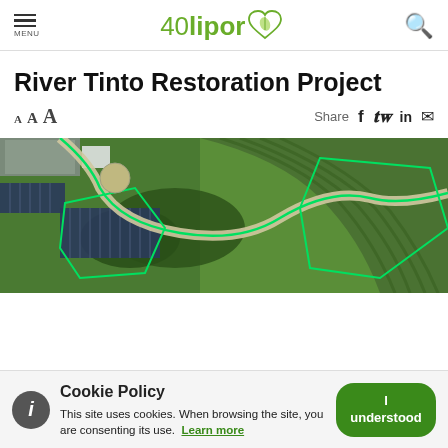MENU | 40 lipor | [search]
River Tinto Restoration Project
A A A   Share [facebook] [twitter] [linkedin] [email]
[Figure (photo): Aerial view of a river restoration project area showing a winding river path outlined in green, with surrounding green fields and some structures visible in the upper left.]
Cookie Policy
This site uses cookies. When browsing the site, you are consenting its use. Learn more
[I understood button]